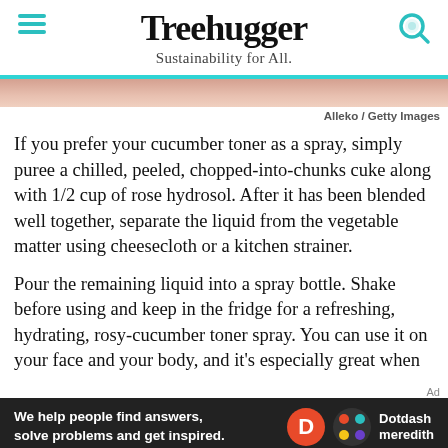Treehugger — Sustainability for All.
[Figure (photo): Partial view of an image, likely food or produce, blurred/cropped strip]
Alleko / Getty Images
If you prefer your cucumber toner as a spray, simply puree a chilled, peeled, chopped-into-chunks cuke along with 1/2 cup of rose hydrosol. After it has been blended well together, separate the liquid from the vegetable matter using cheesecloth or a kitchen strainer.
Pour the remaining liquid into a spray bottle. Shake before using and keep in the fridge for a refreshing, hydrating, rosy-cucumber toner spray. You can use it on your face and your body, and it's especially great when
[Figure (other): Dotdash Meredith advertisement banner: 'We help people find answers, solve problems and get inspired.']